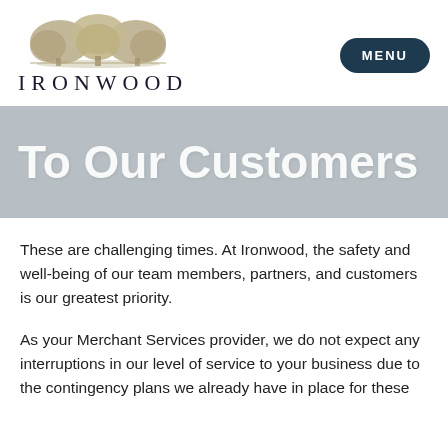[Figure (logo): Ironwood logo with tree illustration and the word IRONWOOD in spaced capitals]
To Our Customers
These are challenging times. At Ironwood, the safety and well-being of our team members, partners, and customers is our greatest priority.
As your Merchant Services provider, we do not expect any interruptions in our level of service to your business due to the contingency plans we already have in place for these